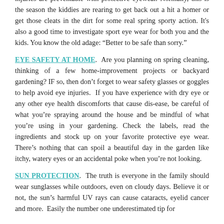injuries are preventable with protective eyewear. Normally, this is the season the kiddies are rearing to get back out a hit a homer or get those cleats in the dirt for some real spring sporty action. It's also a good time to investigate sport eye wear for both you and the kids. You know the old adage: “Better to be safe than sorry.”
EYE SAFETY AT HOME
Are you planning on spring cleaning, thinking of a few home-improvement projects or backyard gardening? IF so, then don’t forget to wear safety glasses or goggles to help avoid eye injuries.  If you have experience with dry eye or any other eye health discomforts that cause dis-ease, be careful of what you’re spraying around the house and be mindful of what you’re using in your gardening. Check the labels, read the ingredients and stock up on your favorite protective eye wear. There’s nothing that can spoil a beautiful day in the garden like itchy, watery eyes or an accidental poke when you’re not looking.
SUN PROTECTION
The truth is everyone in the family should wear sunglasses while outdoors, even on cloudy days. Believe it or not, the sun’s harmful UV rays can cause cataracts, eyelid cancer and more.  Easily the number one underestimated tip for